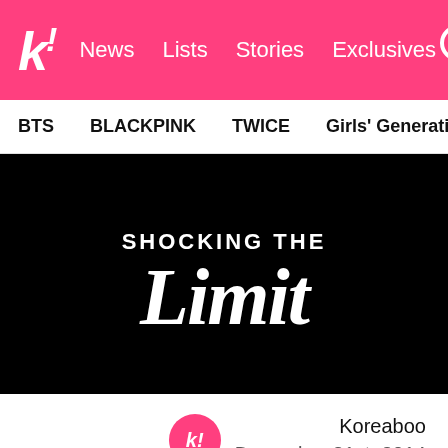k! News Lists Stories Exclusives
BTS BLACKPINK TWICE Girls' Generation TXT SEVE
[Figure (photo): Black background image with white stylized text reading 'SHOCKING THE Limit']
Koreaboo
December 31st, 2014